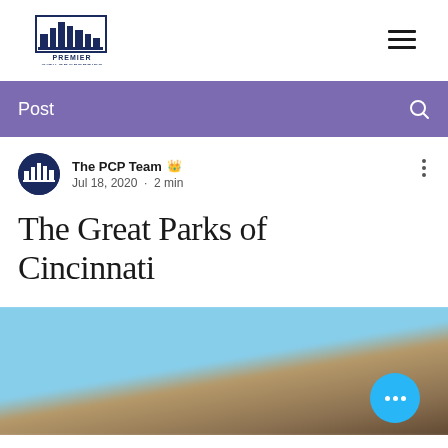[Figure (logo): Premier City Properties logo — dark navy building/skyline silhouette with text 'PREMIER CITY PROPERTIES']
Post
The PCP Team 👑  Jul 18, 2020 · 2 min
The Great Parks of Cincinnati
[Figure (photo): Blurred outdoor park photo showing blue sky above and brownish/tan ground below]